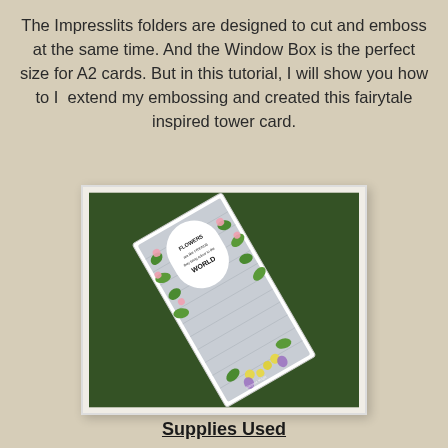The Impresslits folders are designed to cut and emboss at the same time. And the Window Box is the perfect size for A2 cards. But in this tutorial, I will show you how to I  extend my embossing and created this fairytale inspired tower card.
[Figure (photo): A handmade slimline card with embossed stone wall design, decorated with green vines, pink flowers, and purple/yellow flowers at the bottom. The card has a white arch with text reading 'FLOWERS are like FRIENDS they bring colour to the WORLD'. The card is photographed lying on green grass at an angle. Watermark reads 'Mitsyana Wright www.upontippytoes.com'.]
Supplies Used